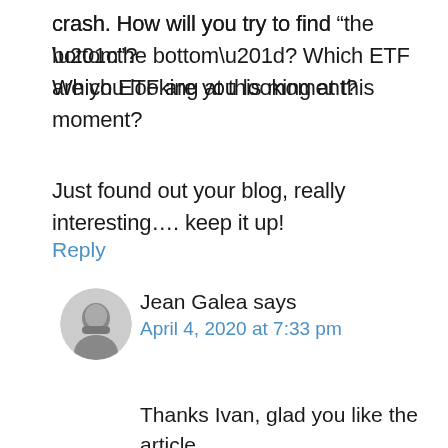crash. How will you try to find “the bottom”? Which ETF are you looking at this moment?
Just found out your blog, really interesting…. keep it up!
Reply
Jean Galea says
April 4, 2020 at 7:33 pm
Thanks Ivan, glad you like the article.